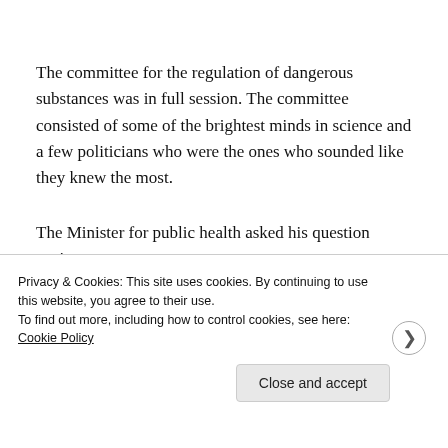The committee for the regulation of dangerous substances was in full session. The committee consisted of some of the brightest minds in science and a few politicians who were the ones who sounded like they knew the most.
The Minister for public health asked his question again.
“We know you have been working on this for some time. What is your progress? What do you know about this?”
Privacy & Cookies: This site uses cookies. By continuing to use this website, you agree to their use.
To find out more, including how to control cookies, see here: Cookie Policy